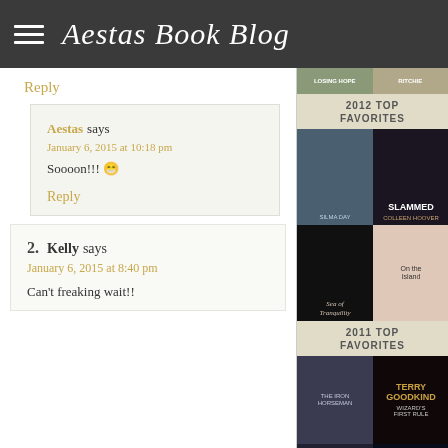Aestas Book Blog
Reply
Aestas says
January 6, 2015 at 10:18 pm
Soooon!!! 😁
Reply
2. Kelly says
January 6, 2015 at 8:40 pm
Can't freaking wait!!
2012 TOP FAVORITES
[Figure (photo): Book covers for 2012 Top Favorites including Slammed by Colleen Hoover, Sea of Tranquility, and On the Island]
2011 TOP FAVORITES
[Figure (photo): Book covers for 2011 Top Favorites including Terry Goodkind Wizard's First Rule, The Iron Horseman, and Karen Marie Moning]